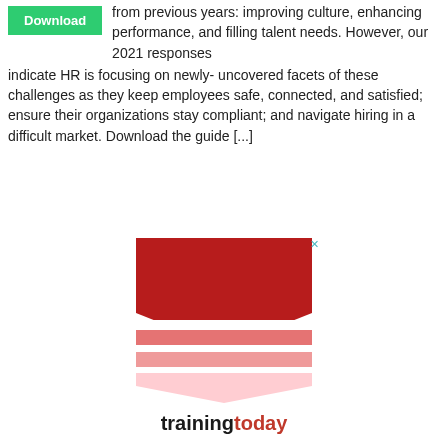from previous years: improving culture, enhancing performance, and filling talent needs. However, our 2021 responses indicate HR is focusing on newly- uncovered facets of these challenges as they keep employees safe, connected, and satisfied; ensure their organizations stay compliant; and navigate hiring in a difficult market. Download the guide [...]
[Figure (logo): Training Today advertisement with a chevron/shield logo made of red and pink downward-pointing triangles, with the text 'trainingtoday' and 'INVEST IN EXCELLENCE' below]
INVEST IN EXCELLENCE